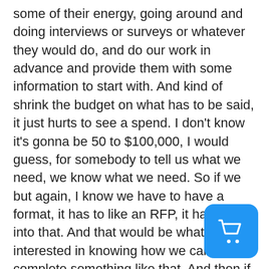some of their energy, going around and doing interviews or surveys or whatever they would do, and do our work in advance and provide them with some information to start with. And kind of shrink the budget on what has to be said, it just hurts to see a spend. I don't know it's gonna be 50 to $100,000, I would guess, for somebody to tell us what we need, we know what we need. So if we but again, I know we have to have a format, it has to like an RFP, it has to fit into that. And that would be what I'd be interested in knowing how we can complete something like that. And then if we could, that'd be a question. And I can definitely pass all that along. Okay. And then if we could put it as an agenda item for the board to have an open discussion about and I think that's probably how it has to work. But I think we would appreciate that the to be ahead of curve, because a lot of times things come to us they're done. They're decided, and when they've
[Figure (other): Blue rounded square button with white shopping cart icon]